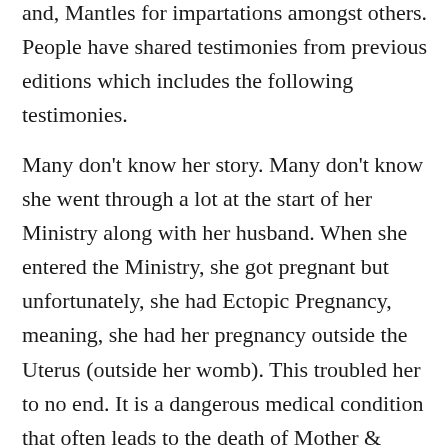and, Mantles for impartations amongst others. People have shared testimonies from previous editions which includes the following testimonies.
Many don't know her story. Many don't know she went through a lot at the start of her Ministry along with her husband. When she entered the Ministry, she got pregnant but unfortunately, she had Ectopic Pregnancy, meaning, she had her pregnancy outside the Uterus (outside her womb). This troubled her to no end. It is a dangerous medical condition that often leads to the death of Mother & Child. She carried the pregnancy for 18 months, instead of the normal 9